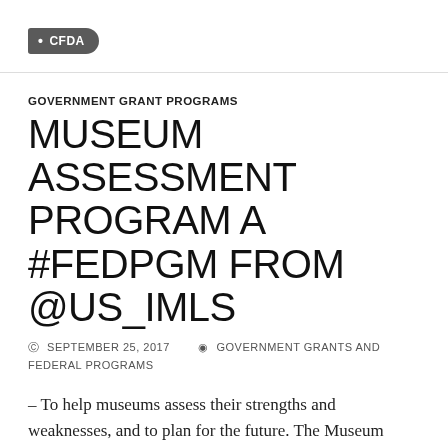• CFDA
GOVERNMENT GRANT PROGRAMS
MUSEUM ASSESSMENT PROGRAM A #FEDPGM FROM @US_IMLS
SEPTEMBER 25, 2017   GOVERNMENT GRANTS AND FEDERAL PROGRAMS
– To help museums assess their strengths and weaknesses, and to plan for the future. The Museum Assessment Program is supported through a cooperative agreement between the